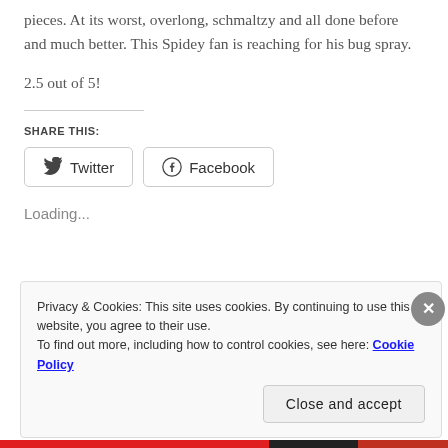pieces. At its worst, overlong, schmaltzy and all done before and much better. This Spidey fan is reaching for his bug spray.
2.5 out of 5!
SHARE THIS:
Twitter
Facebook
Loading...
Privacy & Cookies: This site uses cookies. By continuing to use this website, you agree to their use. To find out more, including how to control cookies, see here: Cookie Policy
Close and accept